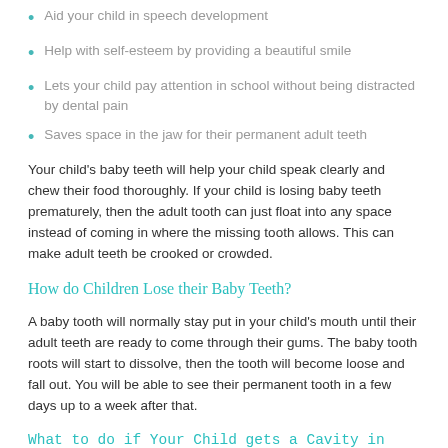Aid your child in speech development
Help with self-esteem by providing a beautiful smile
Lets your child pay attention in school without being distracted by dental pain
Saves space in the jaw for their permanent adult teeth
Your child's baby teeth will help your child speak clearly and chew their food thoroughly. If your child is losing baby teeth prematurely, then the adult tooth can just float into any space instead of coming in where the missing tooth allows. This can make adult teeth be crooked or crowded.
How do Children Lose their Baby Teeth?
A baby tooth will normally stay put in your child's mouth until their adult teeth are ready to come through their gums. The baby tooth roots will start to dissolve, then the tooth will become loose and fall out. You will be able to see their permanent tooth in a few days up to a week after that.
What to do if Your Child gets a Cavity in their Baby Tooth